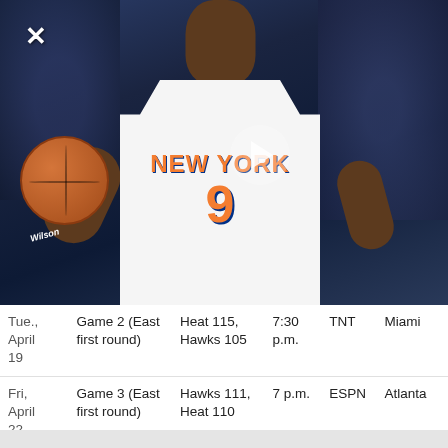[Figure (photo): Basketball player in New York Knicks jersey number 9, holding a Wilson basketball, with a play button overlay icon and an X close button in the top-left corner. Dark arena crowd background.]
| Date | Game | Result | Time | TV | Location |
| --- | --- | --- | --- | --- | --- |
| Tue., April 19 | Game 2 (East first round) | Heat 115, Hawks 105 | 7:30 p.m. | TNT | Miami |
| Fri, April 22 | Game 3 (East first round) | Hawks 111, Heat 110 | 7 p.m. | ESPN | Atlanta |